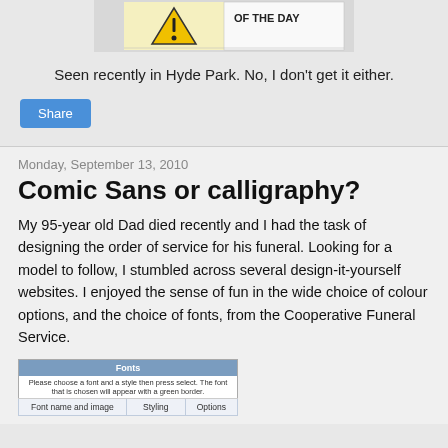[Figure (screenshot): Partial screenshot of a sign or website banner showing 'OF THE DAY' text with a warning triangle icon]
Seen recently in Hyde Park. No, I don't get it either.
Share
Monday, September 13, 2010
Comic Sans or calligraphy?
My 95-year old Dad died recently and I had the task of designing the order of service for his funeral. Looking for a model to follow, I stumbled across several design-it-yourself websites. I enjoyed the sense of fun in the wide choice of colour options, and the choice of fonts, from the Cooperative Funeral Service.
[Figure (screenshot): Screenshot of a 'Fonts' selection table from a funeral service website, with columns: Font name and image, Styling, Options]